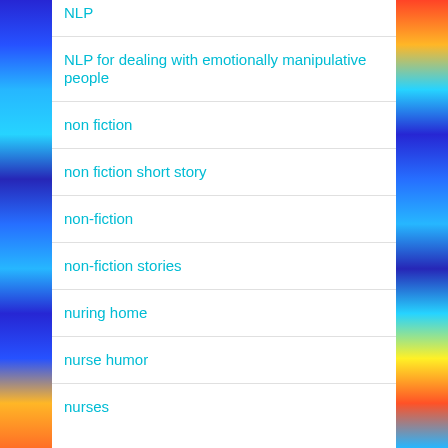NLP
NLP for dealing with emotionally manipulative people
non fiction
non fiction short story
non-fiction
non-fiction stories
nuring home
nurse humor
nurses